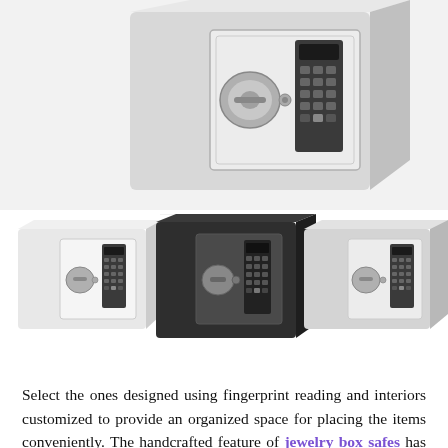[Figure (photo): Large photo of a light gray electronic combination safe box with a digital keypad and rotary handle on the front door, viewed from a slight angle showing the top and front.]
[Figure (photo): Three smaller thumbnail photos side by side showing the same electronic safe box in three colors: white/cream on the left, black in the center, and gray on the right.]
Select the ones designed using fingerprint reading and interiors customized to provide an organized space for placing the items conveniently. The handcrafted feature of jewelry box safes has made it to become popular among the customers who show immense care in safeguarding luxurious accessories. The possibility of mix and match options assists the